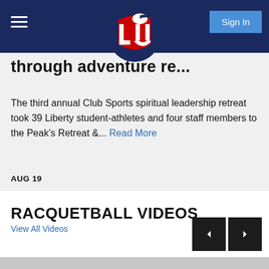Liberty University navigation header with LU logo and Sign In button
through adventure re...t
The third annual Club Sports spiritual leadership retreat took 39 Liberty student-athletes and four staff members to the Peak's Retreat &... Read More
AUG 19
RACQUETBALL VIDEOS
View All Videos
[Figure (screenshot): Bottom partial view of a video thumbnail featuring a car logo]